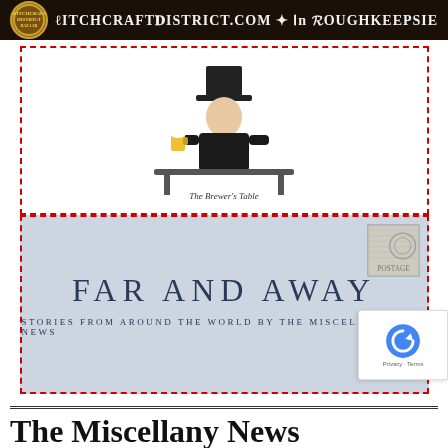[Figure (logo): Dark banner with circular logo on left and text: WITCHCRAFTDISTRICT.COM ✦ IN POUGHKEEPSIE]
[Figure (illustration): The Brewer's Table ad: dashed red border, illustration of a Victorian gentleman in top hat holding a beer mug, text 'The Brewer's Table' below]
[Figure (illustration): Far and Away ad: dashed red border, light blue-grey background with stamp in upper right, large text 'FAR AND AWAY', subtitle 'STORIES FROM AROUND THE WORLD BY THE MISCELLANY NEWS']
The Miscellany News
Sections
Connect
News
Features
Opinions
Humor & Satire
Facebook
Twitter
Instagram
LinkedIn